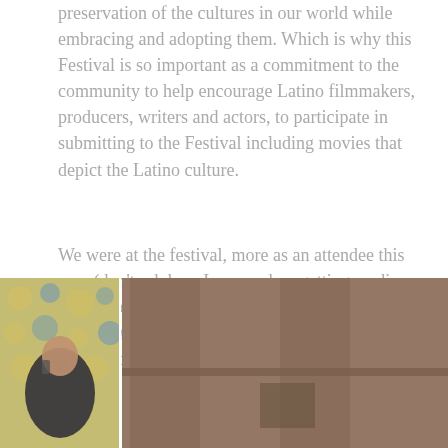preservation of the cultures in our world while embracing and adopting them. Which is why this Festival is so important as a commitment to the community to help encourage Latino filmmakers, producers, writers and actors, to participate in submitting to the Festival including movies that depict the Latino culture.
We were at the festival, more as an attendee this year (don't ask how I screwed up getting media passes for the red carpet) but we did catch one of my favorite actors... Edward James Olmos, who is a big part of this festival.
[Figure (photo): Two-panel photo: left panel shows a person on a phone with a decorative patterned background; right panel shows a blurred interior with dark wooden panels.]